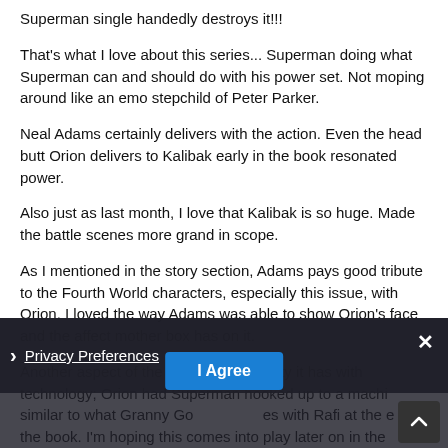Superman single handedly destroys it!!!
That's what I love about this series... Superman doing what Superman can and should do with his power set. Not moping around like an emo stepchild of Peter Parker.
Neal Adams certainly delivers with the action. Even the head butt Orion delivers to Kalibak early in the book resonated power.
Also just as last month, I love that Kalibak is so huge. Made the battle scenes more grand in scope.
As I mentioned in the story section, Adams pays good tribute to the Fourth World characters, especially this issue, with Orion. I loved the way Adams was able to show Orion's face and the affect mother box has on it.
Another aspect of the art is the familiarity it has with technology; Orion had Superman hooked up to a machine similar to what Granny Goodness does with Rafi at the end of the book. I'm hoping this comes into play later on in the series.
Privacy Preferences
I Agree